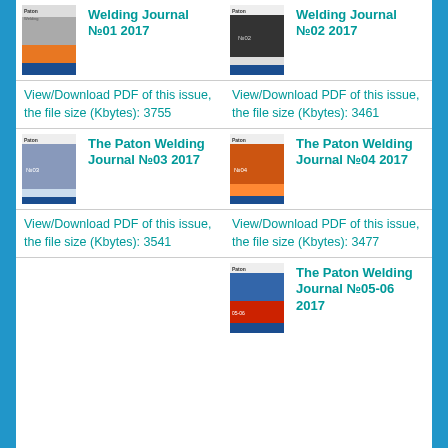[Figure (illustration): Cover of The Paton Welding Journal No.01 2017]
Welding Journal №01 2017
[Figure (illustration): Cover of The Paton Welding Journal No.02 2017]
Welding Journal №02 2017
View/Download PDF of this issue, the file size (Kbytes): 3755
View/Download PDF of this issue, the file size (Kbytes): 3461
[Figure (illustration): Cover of The Paton Welding Journal No.03 2017]
The Paton Welding Journal №03 2017
[Figure (illustration): Cover of The Paton Welding Journal No.04 2017]
The Paton Welding Journal №04 2017
View/Download PDF of this issue, the file size (Kbytes): 3541
View/Download PDF of this issue, the file size (Kbytes): 3477
[Figure (illustration): Cover of The Paton Welding Journal No.05-06 2017]
The Paton Welding Journal №05-06 2017